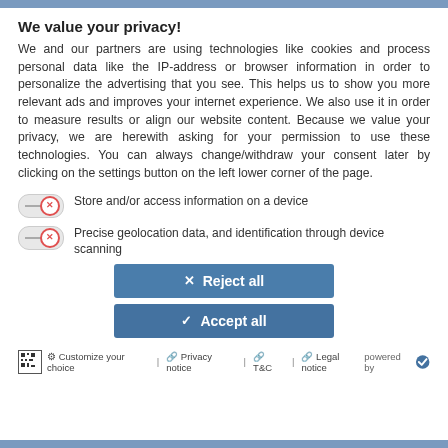We value your privacy!
We and our partners are using technologies like cookies and process personal data like the IP-address or browser information in order to personalize the advertising that you see. This helps us to show you more relevant ads and improves your internet experience. We also use it in order to measure results or align our website content. Because we value your privacy, we are herewith asking for your permission to use these technologies. You can always change/withdraw your consent later by clicking on the settings button on the left lower corner of the page.
Store and/or access information on a device
Precise geolocation data, and identification through device scanning
✕  Reject all
✓  Accept all
⚙ Customize your choice | 🔗 Privacy notice | 🔗 T&C | 🔗 Legal notice  powered by ✓